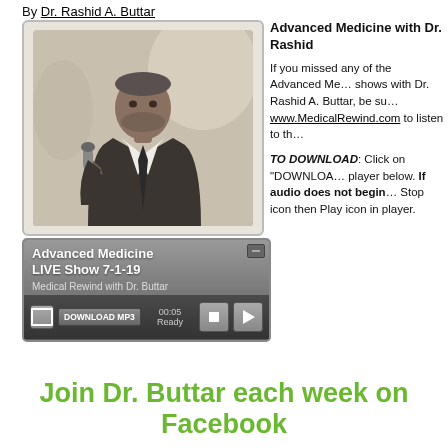By Dr. Rashid A. Buttar
[Figure (photo): Photo of Dr. Rashid A. Buttar speaking into a microphone, wearing a suit and tie]
Advanced Medicine with Dr. Rashid A. Buttar — If you missed any of the Advanced Medicine shows with Dr. Rashid A. Buttar, be sure to visit www.MedicalRewind.com to listen to the…
TO DOWNLOAD: Click on "DOWNLOAD… player below. If audio does not begin… Stop icon then Play icon in player.
[Figure (screenshot): Audio player widget showing 'Advanced Medicine LIVE Show 7-1-19', Medical Rewind with Dr. Buttar, with DOWNLOAD MP3 button, 00:05 Ready status, and play/stop controls]
Join Dr. Buttar each week on Facebook